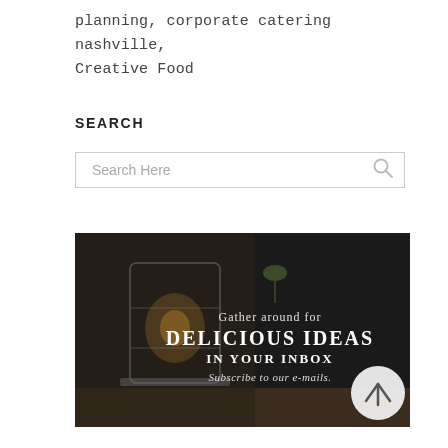planning, corporate catering nashville, Creative Food
SEARCH
[Figure (screenshot): Search bar input field with placeholder text 'Search Here' and a magnifying glass icon on the right]
[Figure (photo): Dark background promotional banner image showing kitchen/food items on a wooden surface with text overlay: 'Gather around for DELICIOUS IDEAS IN YOUR INBOX Subscribe to our e-mails.' with a scroll-up arrow button in the bottom right corner]